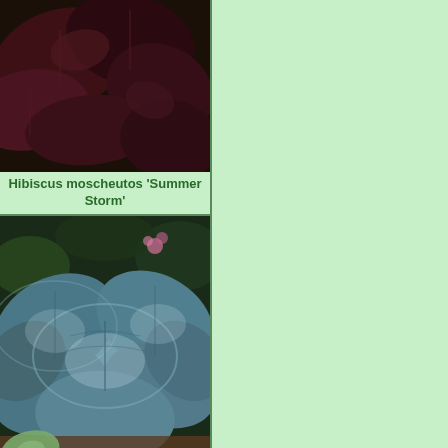[Figure (photo): Dark reddish-purple large tropical leaves of Hibiscus moscheutos 'Summer Storm' plant]
Hibiscus moscheutos 'Summer Storm'
[Figure (photo): Blue-green large rounded hosta leaves of Hosta 'Abiqua Drinking Gourd' forming a dense mound]
Hosta 'Abiqua Drinking Gourd'
[Figure (photo): Partial view of another hosta plant with bright yellow-green leaves at the bottom of the page]